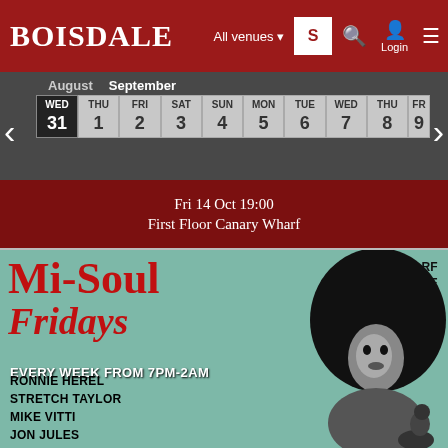BOISDALE — All venues — S — Login
[Figure (screenshot): Boisdale website header with logo, navigation, venue selector, search, login and menu icons on dark red background]
| WED | THU | FRI | SAT | SUN | MON | TUE | WED | THU |
| --- | --- | --- | --- | --- | --- | --- | --- | --- |
| 31 | 1 | 2 | 3 | 4 | 5 | 6 | 7 | 8 |
Fri 14 Oct 19:00
First Floor Canary Wharf
[Figure (photo): Mi-Soul Fridays event poster on teal background with woman with large afro hairstyle. Text: CANARY WHARF GARDEN TERRACE, Mi-Soul Fridays, EVERY WEEK FROM 7PM-2AM, RONNIE HEREL, STRETCH TAYLOR, MIKE VITTI, JON JULES]